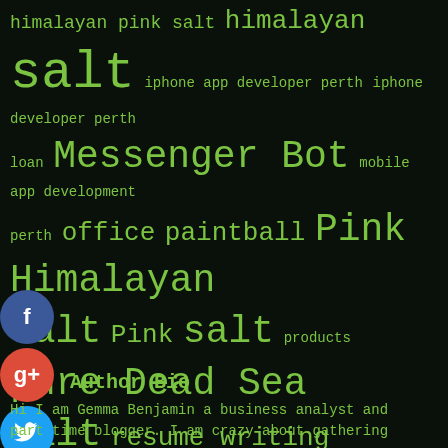[Figure (other): Tag cloud with green monospace text on dark background containing various keywords at different sizes including himalayan pink salt, Messenger Bot, Pink Himalayan salt, pure Dead Sea salt, resume writing services, SEO, services, truffle salt, web design, website chatbot, website design, website developers perth, etc.]
[Figure (other): Social media share buttons: Facebook (blue circle with f), Google+ (red circle with g+), Twitter (blue circle with bird), and a blue plus button]
Author Bio
Hi I am Gemma Benjamin a business analyst and part time blogger. I am crazy about gathering